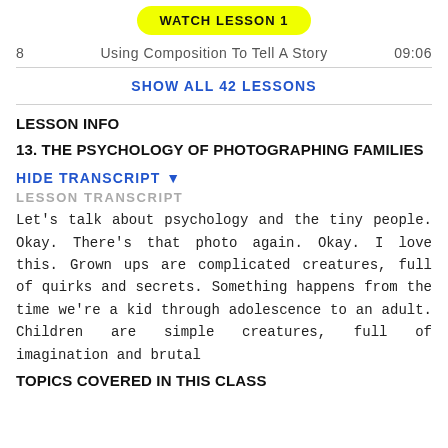[Figure (other): Yellow rounded button with text WATCH LESSON 1]
8   Using Composition To Tell A Story   09:06
SHOW ALL 42 LESSONS
LESSON INFO
13. THE PSYCHOLOGY OF PHOTOGRAPHING FAMILIES
HIDE TRANSCRIPT ▾
LESSON TRANSCRIPT
Let's talk about psychology and the tiny people. Okay. There's that photo again. Okay. I love this. Grown ups are complicated creatures, full of quirks and secrets. Something happens from the time we're a kid through adolescence to an adult. Children are simple creatures, full of imagination and brutal
TOPICS COVERED IN THIS CLASS